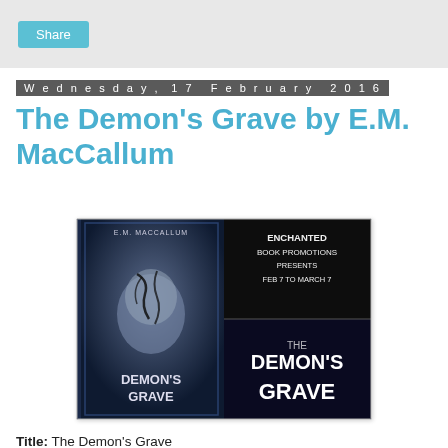Share
Wednesday, 17 February 2016
The Demon's Grave by E.M. MacCallum
[Figure (illustration): Book promotion banner for 'The Demon's Grave' by E.M. MacCallum. Left half shows the book cover: a young woman's face with dark tendrils, text 'E.M. MacCallum' at top and 'Demon's Grave' at bottom. Right half shows: 'Enchanted Book Promotions Presents Feb 7 to March 7' in upper section and 'The Demon's Grave' in large text in lower section. Dark blue/black background.]
Title: The Demon's Grave
Author: E.M. MacCallum
Genre: Dark Urban Fantasy